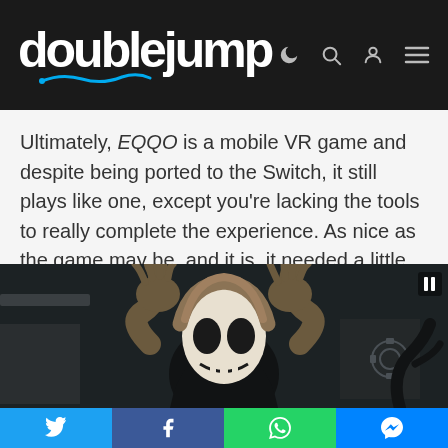doublejump
Ultimately, EQQO is a mobile VR game and despite being ported to the Switch, it still plays like one, except you're lacking the tools to really complete the experience. As nice as the game may be, and it is, it needed a little more work in order to be a truly good Switch port.
[Figure (screenshot): Screenshot from the game EQQO showing a dark skull-like monster character with raised arms in a creepy environment. A pause button (II) is visible in the top right of the video frame.]
Social share bar with Twitter, Facebook, WhatsApp, and Messenger buttons